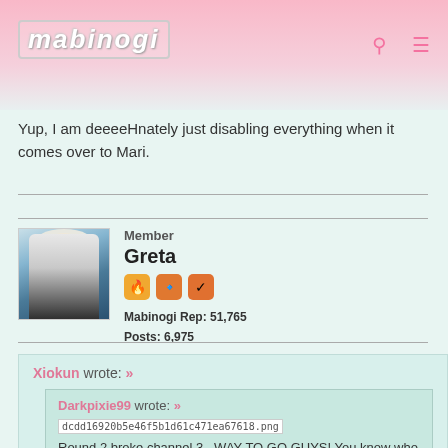mabinogi
Yup, I am deeeeHnately just disabling everything when it comes over to Mari.
Member
Greta
Mabinogi Rep: 51,765
Posts: 6,975
MARCH 28, 2017  EDITED MARCH 28, 2017
Xiokun wrote: »
  Darkpixie99 wrote: »
  [image: dcdd16920b5e46f5b1d61c471ea67618.png]
  Round 2 broke channel 3...WAY TO GO GUYS! You know who you are...skill spammers...